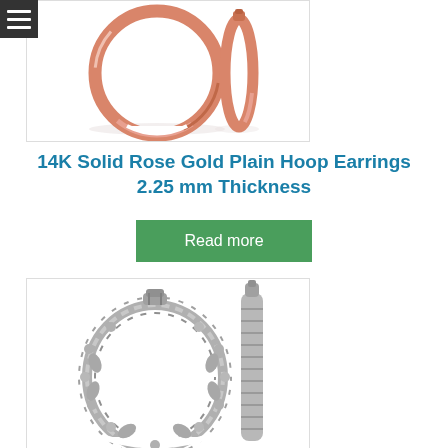[Figure (photo): 14K solid rose gold plain hoop earrings product image showing two hoop earrings from front and side view on white background]
14K Solid Rose Gold Plain Hoop Earrings 2.25 mm Thickness
Read more
[Figure (photo): Silver ornate hoop earrings product image showing detailed floral/vine pattern earrings from front and side view on white background]